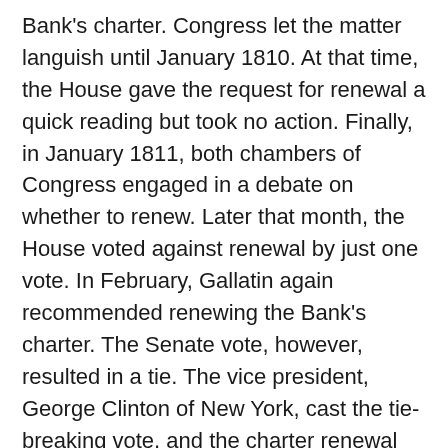Bank's charter. Congress let the matter languish until January 1810. At that time, the House gave the request for renewal a quick reading but took no action. Finally, in January 1811, both chambers of Congress engaged in a debate on whether to renew. Later that month, the House voted against renewal by just one vote. In February, Gallatin again recommended renewing the Bank's charter. The Senate vote, however, resulted in a tie. The vice president, George Clinton of New York, cast the tie-breaking vote, and the charter renewal was again defeated by one vote.
By 1811, many of those who had opposed the bank in 1790-91 still opposed it for the same reasons and said the charter should be allowed to expire. By this point, Alexander Hamilton was dead — killed in a duel with Aaron Burr — and his pro-Bank Federalist Party was out of power, while the Democratic-